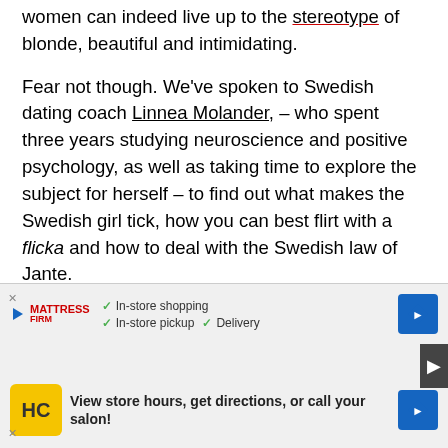women can indeed live up to the stereotype of blonde, beautiful and intimidating.
Fear not though. We've spoken to Swedish dating coach Linnea Molander, – who spent three years studying neuroscience and positive psychology, as well as taking time to explore the subject for herself – to find out what makes the Swedish girl tick, how you can best flirt with a flicka and how to deal with the Swedish law of Jante.
Be Confident, And A Little Cautious
Linnea… en, all of w… ctive fields.
[Figure (other): Mattress Firm advertisement overlay showing in-store shopping, in-store pickup, delivery options, and a link to view store hours and directions.]